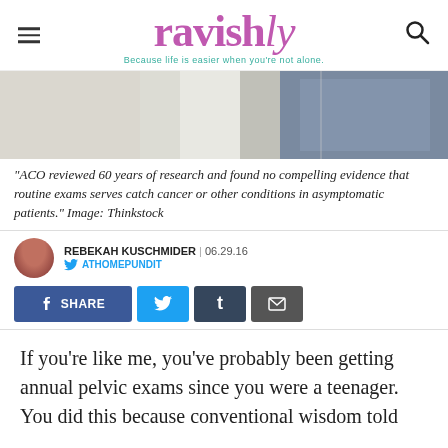ravishly — Because life is easier when you're not alone.
[Figure (photo): Hero image showing a doctor in white coat and a patient in a hospital gown with hands clasped]
"ACO reviewed 60 years of research and found no compelling evidence that routine exams serves catch cancer or other conditions in asymptomatic patients." Image: Thinkstock
REBEKAH KUSCHMIDER | 06.29.16
ATHOMEPUNDIT
[Figure (infographic): Social share buttons: Facebook Share, Twitter, Tumblr, Email]
If you're like me, you've probably been getting annual pelvic exams since you were a teenager. You did this because conventional wisdom told